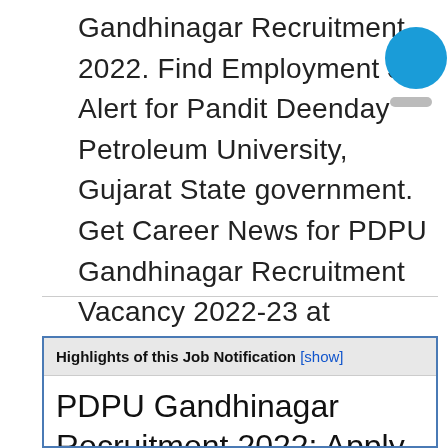Gandhinagar Recruitment 2022. Find Employment Job Alert for Pandit Deenday Petroleum University, Gujarat State government. Get Career News for PDPU Gandhinagar Recruitment Vacancy 2022-23 at www.pdpu.ac.in.
[Figure (other): Blue circle UI element and grey pill/line UI element on the right side]
Highlights of this Job Notification [show]
PDPU Gandhinagar Recruitment 2022: Apply Online for Job Openings in Pandit Deendayal...